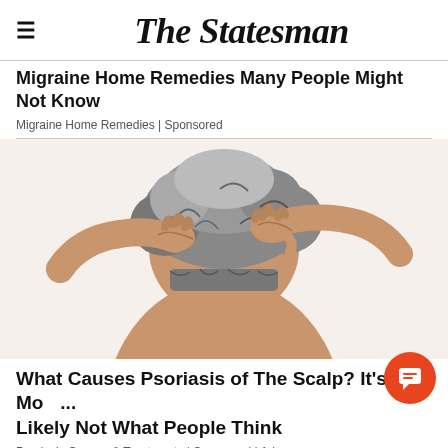The Statesman
Migraine Home Remedies Many People Might Not Know
Migraine Home Remedies | Sponsored
[Figure (photo): Person with gray hair pressing both hands against their scalp, viewed from behind, on a white background — illustrating scalp psoriasis or head pain.]
What Causes Psoriasis of The Scalp? It's Most Likely Not What People Think
Psoriasis Causes & Treatments | Sponsored | Ads